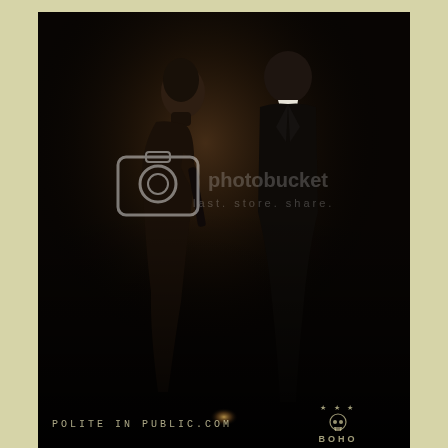[Figure (photo): Dark, moody fashion/promotional photograph showing two figures: a woman in a sheer/dark outfit on the left and a man in a dark coat on the right, standing against a dark textured wall. The image has a Photobucket watermark overlay in the center. The lower portion of the image is very dark. Text overlay reads 'POLITE IN PUBLIC.COM' in the lower left and a 'BOHO MEDIA' logo with skull icon in the lower right. The image has a second smaller scene at the very bottom showing a small light source. Page background is a pale olive/cream color visible on the sides.]
POLITE IN PUBLIC.COM
BOHO MEDIA